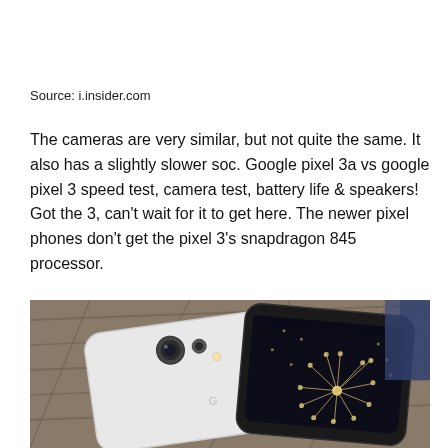Source: i.insider.com
The cameras are very similar, but not quite the same. It also has a slightly slower soc. Google pixel 3a vs google pixel 3 speed test, camera test, battery life & speakers! Got the 3, can't wait for it to get here. The newer pixel phones don't get the pixel 3's snapdragon 845 processor.
[Figure (photo): Two smartphones (one white, one black) placed on a wooden surface, seen from above at an angle. The white phone faces back-up showing its camera. The black phone displays a dandelion wallpaper on its screen.]